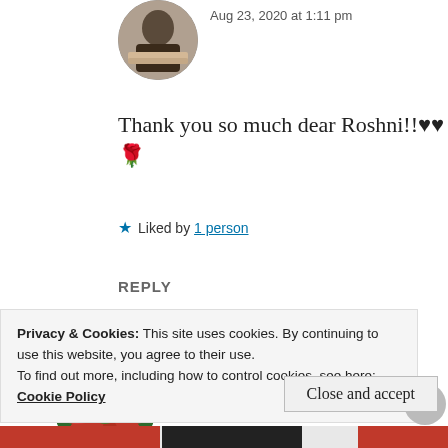[Figure (photo): Circular avatar showing a person reading a book, partially visible at top]
Aug 23, 2020 at 1:11 pm
Thank you so much dear Roshni!!♥♥ 🌹
★ Liked by 1 person
REPLY
[Figure (photo): Circular avatar showing a red flower (poinsettia) on green background]
AASHI D PAREKH
Aug 23, 2020 at 10:56 am
Privacy & Cookies: This site uses cookies. By continuing to use this website, you agree to their use.
To find out more, including how to control cookies, see here: Cookie Policy